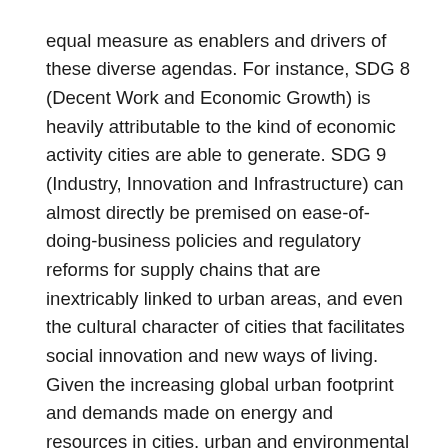equal measure as enablers and drivers of these diverse agendas. For instance, SDG 8 (Decent Work and Economic Growth) is heavily attributable to the kind of economic activity cities are able to generate. SDG 9 (Industry, Innovation and Infrastructure) can almost directly be premised on ease-of-doing-business policies and regulatory reforms for supply chains that are inextricably linked to urban areas, and even the cultural character of cities that facilitates social innovation and new ways of living. Given the increasing global urban footprint and demands made on energy and resources in cities, urban and environmental phenomena go hand in hand and will require combined policy solutions. Similar arguments can be made for most of the goals under the SDG umbrella.
The SDGs, along with other guidelines (Paris Agreement, New Urban Agenda, etc.) constitute a comprehensive